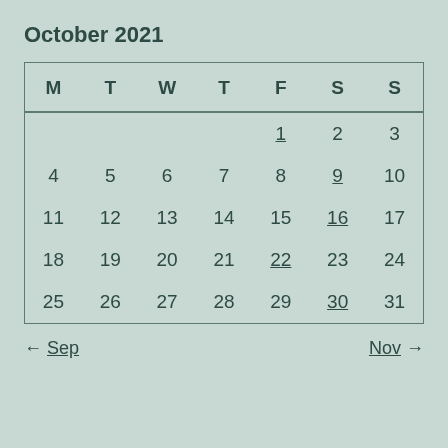October 2021
| M | T | W | T | F | S | S |
| --- | --- | --- | --- | --- | --- | --- |
|  |  |  |  | 1 | 2 | 3 |
| 4 | 5 | 6 | 7 | 8 | 9 | 10 |
| 11 | 12 | 13 | 14 | 15 | 16 | 17 |
| 18 | 19 | 20 | 21 | 22 | 23 | 24 |
| 25 | 26 | 27 | 28 | 29 | 30 | 31 |
← Sep    Nov →